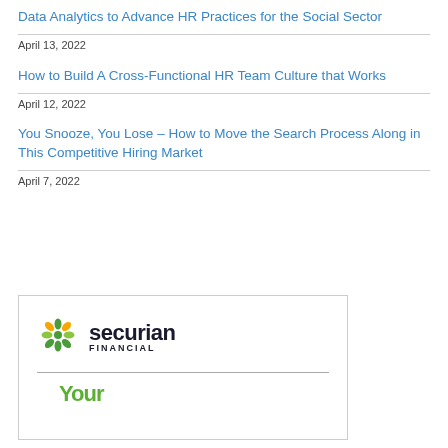Data Analytics to Advance HR Practices for the Social Sector
April 13, 2022
How to Build A Cross-Functional HR Team Culture that Works
April 12, 2022
You Snooze, You Lose – How to Move the Search Process Along in This Competitive Hiring Market
April 7, 2022
[Figure (logo): Securian Financial logo with green geometric flower/snowflake icon and bold dark text reading 'securian FINANCIAL', followed by a horizontal divider and partial green text 'Your' below]